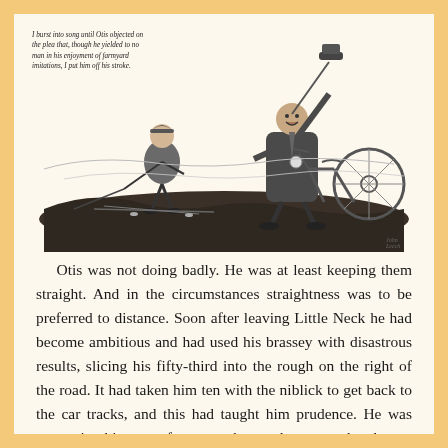[Figure (illustration): A black and white pen-and-ink illustration showing two golfers on a course. On the right, a large man in a suit raises his hat triumphantly with one arm while holding a bicycle with the other. On the left, a smaller figure in knickerbockers swings a golf club. Golf clubs and arrows are scattered on the ground.]
I burst into song until Otis objected on the plea that, though he yielded to no man in his enjoyment of farmyard imitations, I put him off his stroke.
Otis was not doing badly. He was at least keeping them straight. And in the circumstances straightness was to be preferred to distance. Soon after leaving Little Neck he had become ambitious and had used his brassey with disastrous results, slicing his fifty-third into the rough on the right of the road. It had taken him ten with the niblick to get back to the car tracks, and this had taught him prudence. He was now using his putter for every shot, and, except when he got trapped in the cross-lines at the top of the hill just before